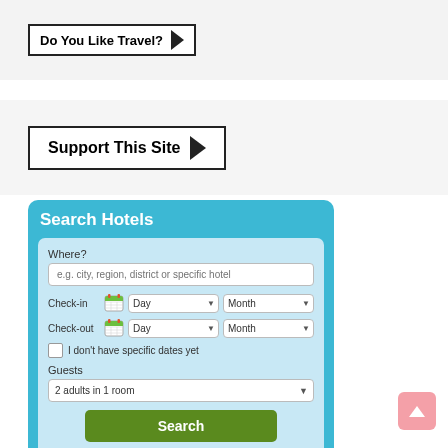Do You Like Travel?
Support This Site
Search Hotels
Where?
e.g. city, region, district or specific hotel
Check-in
Check-out
I don't have specific dates yet
Guests
2 adults in 1 room
Search